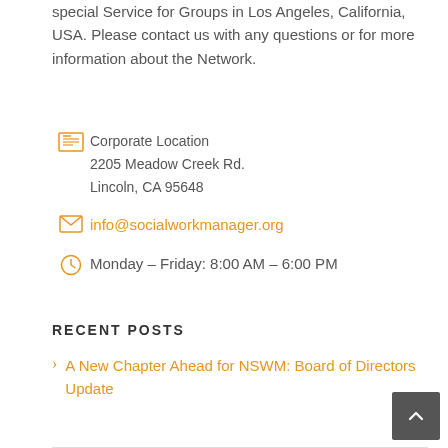special Service for Groups in Los Angeles, California, USA. Please contact us with any questions or for more information about the Network.
Corporate Location
2205 Meadow Creek Rd.
Lincoln, CA 95648
info@socialworkmanager.org
Monday – Friday: 8:00 AM – 6:00 PM
RECENT POSTS
A New Chapter Ahead for NSWM: Board of Directors Update